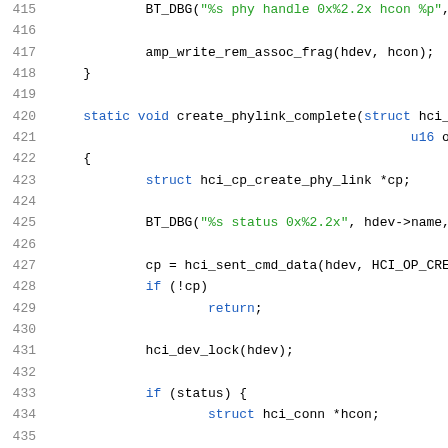[Figure (screenshot): Source code listing showing C kernel/Bluetooth HCI code, lines 415–435, with line numbers in gray, keywords in blue, and string literals in green on white background.]